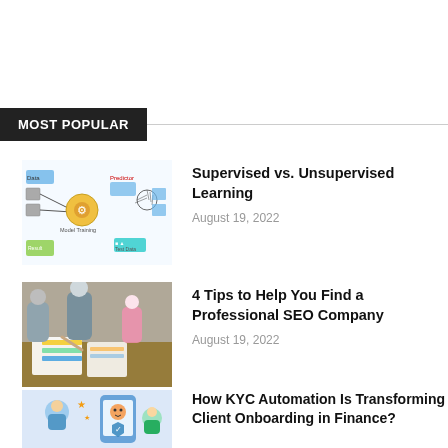MOST POPULAR
[Figure (screenshot): Diagram showing supervised vs unsupervised machine learning workflow with nodes and icons]
Supervised vs. Unsupervised Learning
August 19, 2022
[Figure (photo): People pointing at colorful papers/charts on a table, business meeting]
4 Tips to Help You Find a Professional SEO Company
August 19, 2022
[Figure (illustration): KYC automation illustration with person and phone interface]
How KYC Automation Is Transforming Client Onboarding in Finance?